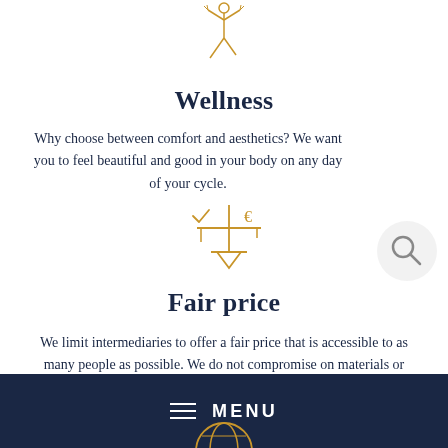[Figure (illustration): Gold outline icon of a yoga or meditation pose figure]
Wellness
Why choose between comfort and aesthetics? We want you to feel beautiful and good in your body on any day of your cycle.
[Figure (illustration): Gold outline icon of a balance scale with a checkmark on one side and a euro sign on the other]
Fair price
We limit intermediaries to offer a fair price that is accessible to as many people as possible. We do not compromise on materials or quality, we favor a minimalist
[Figure (illustration): Dark navy menu bar with hamburger icon and MENU text]
[Figure (illustration): Partial gold globe icon at bottom of page]